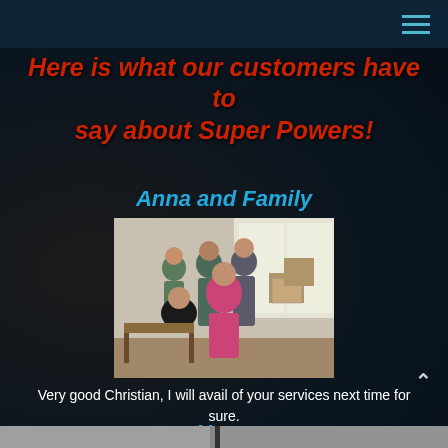Navigation bar with hamburger menu
Here is what our customers have to say about Super Powers!
Anna and Family
[Figure (photo): A group of people standing and sitting in a room with moving boxes and furniture]
Very good Christian, I will avail of your services next time for sure.
Hong
[Figure (photo): Partial view of another photo at the bottom of the page]